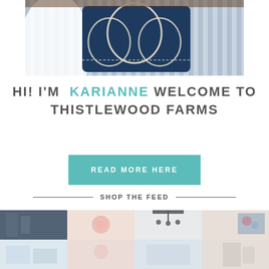[Figure (photo): Photo of a striped blue and white armchair with decorative navy and cream macrame/embroidered pillows, dark wood floor visible in background]
HI! I'M KARIANNE WELCOME TO THISTLEWOOD FARMS
READ MORE HERE
SHOP THE FEED
[Figure (photo): Grid of four interior home/lifestyle photos in a 2x2 collage for 'Shop the Feed' section, showing rooms with furniture, decor items, floral arrangements, and home accessories]